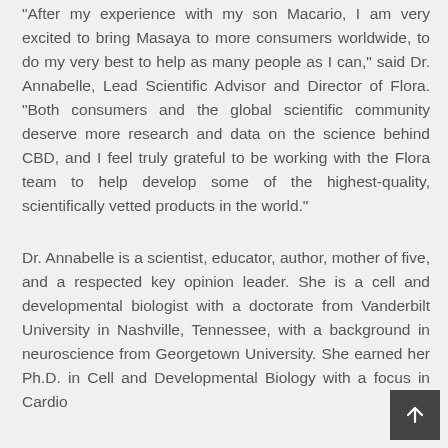"After my experience with my son Macario, I am very excited to bring Masaya to more consumers worldwide, to do my very best to help as many people as I can," said Dr. Annabelle, Lead Scientific Advisor and Director of Flora. "Both consumers and the global scientific community deserve more research and data on the science behind CBD, and I feel truly grateful to be working with the Flora team to help develop some of the highest-quality, scientifically vetted products in the world."
Dr. Annabelle is a scientist, educator, author, mother of five, and a respected key opinion leader. She is a cell and developmental biologist with a doctorate from Vanderbilt University in Nashville, Tennessee, with a background in neuroscience from Georgetown University. She earned her Ph.D. in Cell and Developmental Biology with a focus in Cardio...